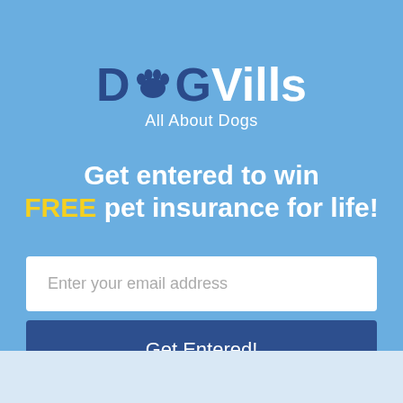[Figure (logo): DogVills logo with paw print replacing the 'o' in 'Dog', text reads 'DogVills All About Dogs']
Get entered to win FREE pet insurance for life!
Enter your email address
Get Entered!